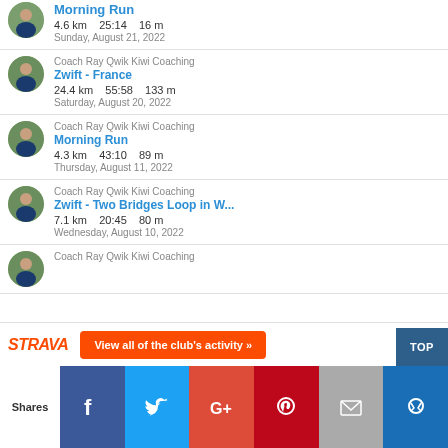Morning Run | 4.6 km  25:14  16 m | Sunday, August 21, 2022
Coach Ray Qwik Kiwi Coaching | Zwift - France | 24.4 km  55:58  133 m | Saturday, August 20, 2022
Coach Ray Qwik Kiwi Coaching | Morning Run | 4.3 km  43:10  89 m | Thursday, August 11, 2022
Coach Ray Qwik Kiwi Coaching | Zwift - Two Bridges Loop in W... | 7.1 km  20:45  80 m | Wednesday, August 10, 2022
Coach Ray Qwik Kiwi Coaching
[Figure (logo): Strava logo in orange italic bold font]
View all of the club's activity »
TOP
Shares
[Figure (infographic): Social share bar with Facebook, Twitter, Google+, Pinterest, Email, and bookmark icons]